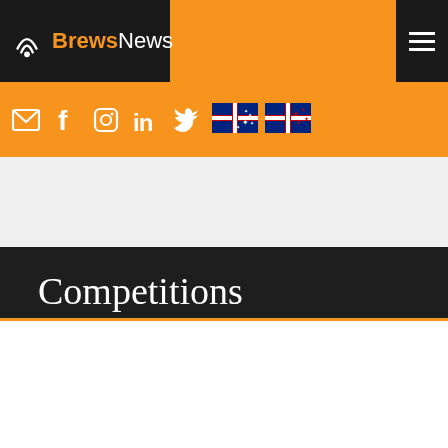BrewsNews
[Figure (logo): BrewsNews logo with wifi/coffee cup icon on dark background, orange header bar with social media icons (email, facebook, instagram, linkedin, twitter) and Australian and New Zealand flags]
Competitions